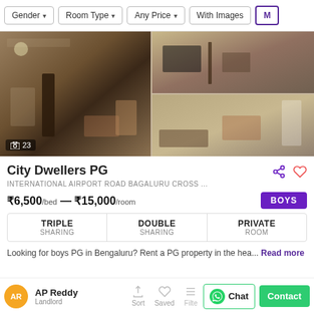Gender ▾  Room Type ▾  Any Price ▾  With Images  Mo
[Figure (photo): Three interior room photos of City Dwellers PG. Left: large blurry living room with dark door. Top right: room with TV and partition. Bottom right: room with furniture. Badge shows 23 images.]
City Dwellers PG
INTERNATIONAL AIRPORT ROAD BAGALURU CROSS ...
₹6,500/bed — ₹15,000/room
| TRIPLE
SHARING | DOUBLE
SHARING | PRIVATE
ROOM |
Looking for boys PG in Bengaluru? Rent a PG property in the hea... Read more
AP Reddy
Landlord